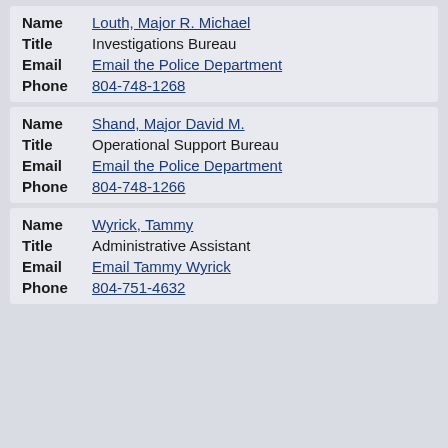| Field | Value |
| --- | --- |
| Name | Louth, Major R. Michael |
| Title | Investigations Bureau |
| Email | Email the Police Department |
| Phone | 804-748-1268 |
| Name | Shand, Major David M. |
| Title | Operational Support Bureau |
| Email | Email the Police Department |
| Phone | 804-748-1266 |
| Name | Wyrick, Tammy |
| Title | Administrative Assistant |
| Email | Email Tammy Wyrick |
| Phone | 804-751-4632 |